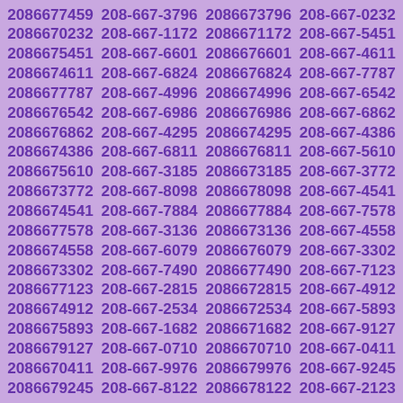2086677459 208-667-3796 2086673796 208-667-0232 2086670232 208-667-1172 2086671172 208-667-5451 2086675451 208-667-6601 2086676601 208-667-4611 2086674611 208-667-6824 2086676824 208-667-7787 2086677787 208-667-4996 2086674996 208-667-6542 2086676542 208-667-6986 2086676986 208-667-6862 2086676862 208-667-4295 2086674295 208-667-4386 2086674386 208-667-6811 2086676811 208-667-5610 2086675610 208-667-3185 2086673185 208-667-3772 2086673772 208-667-8098 2086678098 208-667-4541 2086674541 208-667-7884 2086677884 208-667-7578 2086677578 208-667-3136 2086673136 208-667-4558 2086674558 208-667-6079 2086676079 208-667-3302 2086673302 208-667-7490 2086677490 208-667-7123 2086677123 208-667-2815 2086672815 208-667-4912 2086674912 208-667-2534 2086672534 208-667-5893 2086675893 208-667-1682 2086671682 208-667-9127 2086679127 208-667-0710 2086670710 208-667-0411 2086670411 208-667-9976 2086679976 208-667-9245 2086679245 208-667-8122 2086678122 208-667-2123